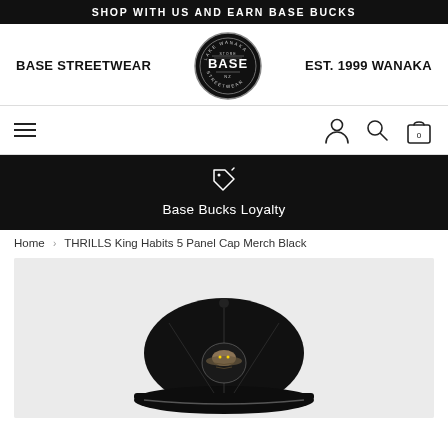SHOP WITH US AND EARN BASE BUCKS
[Figure (logo): Base Streetwear logo with circle badge. Left text: BASE STREETWEAR, Right text: EST. 1999 WANAKA, Center: circular badge with BASE text]
[Figure (infographic): Navigation bar with hamburger menu on left, account/search/cart icons on right]
[Figure (infographic): Black loyalty band with price-tag icon and text: Base Bucks Loyalty]
Home > THRILLS King Habits 5 Panel Cap Merch Black
[Figure (photo): Product photo of a black 5 panel cap (THRILLS King Habits) with cobra/snake embroidered patch on a model]